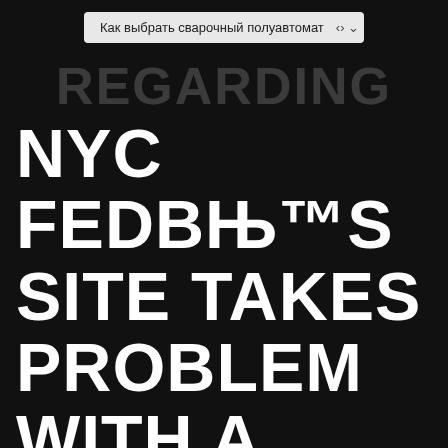[Figure (screenshot): Dropdown menu widget with Russian text: 'Как выбрать сварочный полуавтомат' with a chevron arrow on a light gray background, overlaying a dark page.]
REGARDING THE
NYC FEDВЊ™S SITE TAKES PROBLEM WiTH A FEW ВЊЊELEMENTS FOR THE LENDiNG